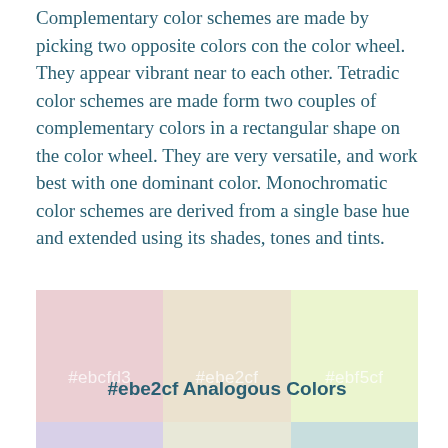Complementary color schemes are made by picking two opposite colors con the color wheel. They appear vibrant near to each other. Tetradic color schemes are made form two couples of complementary colors in a rectangular shape on the color wheel. They are very versatile, and work best with one dominant color. Monochromatic color schemes are derived from a single base hue and extended using its shades, tones and tints.
[Figure (infographic): Three color swatches side by side showing colors #ebcfd3 (pink), #ebe2cf (beige), and #ebf5cf (light green), each labeled with their hex code in white text.]
#ebe2cf Analogous Colors
[Figure (infographic): Three color swatches at the bottom of the page: lavender, cream, and light teal, partially visible.]